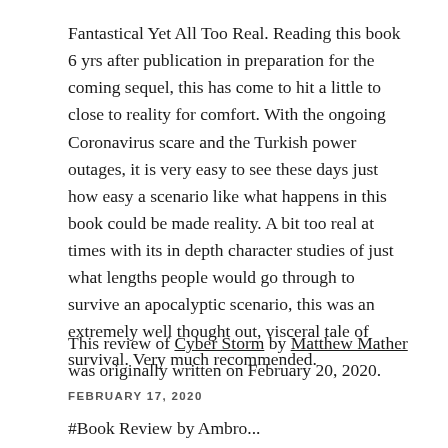Fantastical Yet All Too Real. Reading this book 6 yrs after publication in preparation for the coming sequel, this has come to hit a little to close to reality for comfort. With the ongoing Coronavirus scare and the Turkish power outages, it is very easy to see these days just how easy a scenario like what happens in this book could be made reality. A bit too real at times with its in depth character studies of just what lengths people would go through to survive an apocalyptic scenario, this was an extremely well thought out, visceral tale of survival. Very much recommended.
This review of Cyber Storm by Matthew Mather was originally written on February 20, 2020.
FEBRUARY 17, 2020
#Book Review by Ambro...